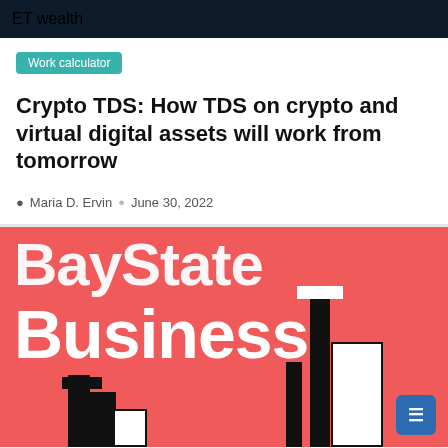ET wealth
Work calculator
Crypto TDS: How TDS on crypto and virtual digital assets will work from tomorrow
Maria D. Ervin   June 30, 2022
[Figure (illustration): Baystate Business illustration with red background and white bold text reading 'Baystate Business', stylized city buildings in black and white]